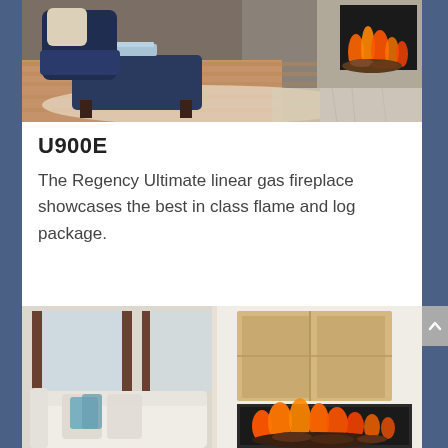[Figure (photo): Interior room photo showing a navy blue armchair and ottoman with books on it, positioned on a wood floor with a fireplace with flames visible in the upper right, marble surround, and a light-colored area rug.]
U900E
The Regency Ultimate linear gas fireplace showcases the best in class flame and log package.
[Figure (photo): Modern living room photo showing a white sofa with blue and white cushions near large windows with natural light, and a contemporary gas fireplace with flames and log set built into a light wood and white wall surround.]